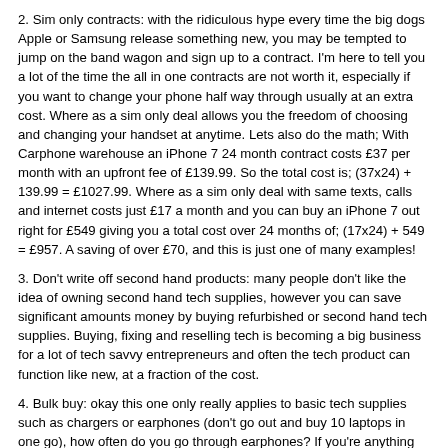2. Sim only contracts: with the ridiculous hype every time the big dogs Apple or Samsung release something new, you may be tempted to jump on the band wagon and sign up to a contract. I'm here to tell you a lot of the time the all in one contracts are not worth it, especially if you want to change your phone half way through usually at an extra cost. Where as a sim only deal allows you the freedom of choosing and changing your handset at anytime. Lets also do the math; With Carphone warehouse an iPhone 7 24 month contract costs £37 per month with an upfront fee of £139.99. So the total cost is; (37x24) + 139.99 = £1027.99. Where as a sim only deal with same texts, calls and internet costs just £17 a month and you can buy an iPhone 7 out right for £549 giving you a total cost over 24 months of; (17x24) + 549 = £957. A saving of over £70, and this is just one of many examples!
3. Don't write off second hand products: many people don't like the idea of owning second hand tech supplies, however you can save significant amounts money by buying refurbished or second hand tech supplies. Buying, fixing and reselling tech is becoming a big business for a lot of tech savvy entrepreneurs and often the tech product can function like new, at a fraction of the cost.
4. Bulk buy: okay this one only really applies to basic tech supplies such as chargers or earphones (don't go out and buy 10 laptops in one go), how often do you go through earphones? If you're anything like me, buying new earphones is an almost monthly experience and although they're not the most expensive products it can soon add up. So why not buy your yearly needs in one go? As is often the case the more of something you buy, the cheaper the cost per unit, this is especially true when buying tech supplies. You can save as much as 20% if you buy 10 or more of the same product with certain sites, not too shabby.
5. Be patient: If something has just been released it will often be at it's peak in terms of price as demand is highest its simple business, but if you wait just a